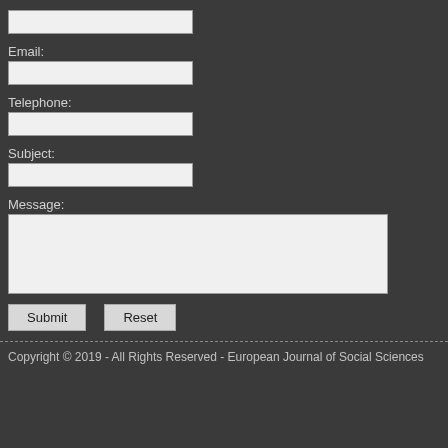[Figure (screenshot): A web contact form with fields for Email, Telephone, Subject, Message, and Submit/Reset buttons on a dark gray background]
Email:
Telephone:
Subject:
Message:
Submit
Reset
Copyright © 2019 - All Rights Reserved - European Journal of Social Sciences